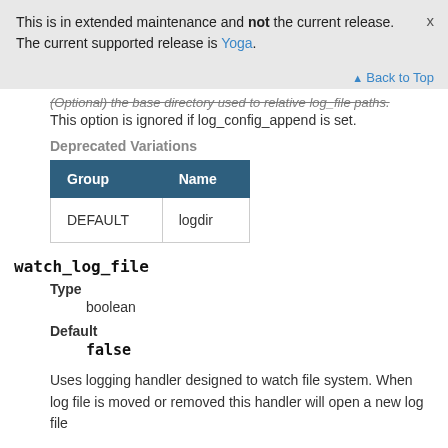This is in extended maintenance and not the current release. The current supported release is Yoga.
Back to Top
(Optional) the base directory used to relative log_file paths. This option is ignored if log_config_append is set.
Deprecated Variations
| Group | Name |
| --- | --- |
| DEFAULT | logdir |
watch_log_file
Type
boolean
Default
false
Uses logging handler designed to watch file system. When log file is moved or removed this handler will open a new log file